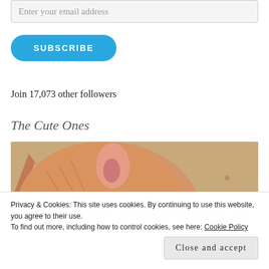Enter your email address
SUBSCRIBE
Join 17,073 other followers
The Cute Ones
[Figure (photo): Close-up photo of an orange/ginger cat's face and ear, with a blue fuzzy object visible in the bottom right corner. The cat appears to be lying down on a light brown surface.]
Privacy & Cookies: This site uses cookies. By continuing to use this website, you agree to their use.
To find out more, including how to control cookies, see here: Cookie Policy
Close and accept